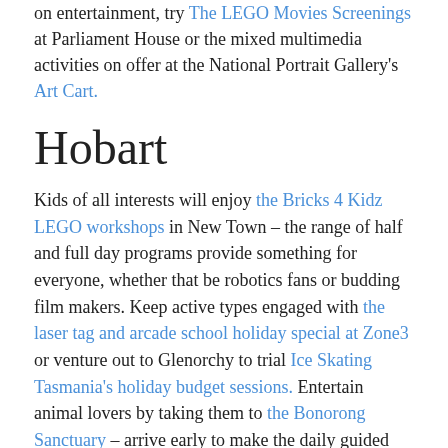on entertainment, try The LEGO Movies Screenings at Parliament House or the mixed multimedia activities on offer at the National Portrait Gallery's Art Cart.
Hobart
Kids of all interests will enjoy the Bricks 4 Kidz LEGO workshops in New Town – the range of half and full day programs provide something for everyone, whether that be robotics fans or budding film makers. Keep active types engaged with the laser tag and arcade school holiday special at Zone3 or venture out to Glenorchy to trial Ice Skating Tasmania's holiday budget sessions. Entertain animal lovers by taking them to the Bonorong Sanctuary – arrive early to make the daily guided tour or schedule in a night time visit to see wildlife such as the famous Tasmanian devil. If you're still stuck for ideas, why not head down to the Museum of Old and New Art (MONA)? Kids can immerse themselves in age-appropriate art such as the Musical Trampoline, ZiZi the Affectionate Couch and the Dot